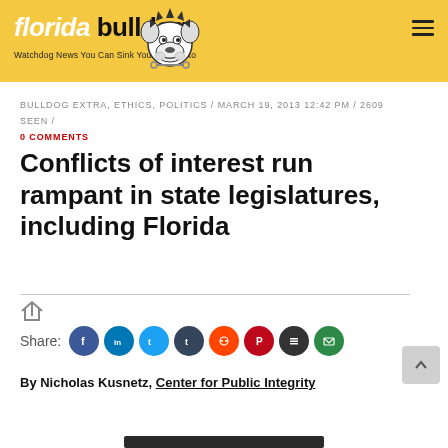florida bulldog — Watchdog News You Can Sink Your Teeth Into
BULLDOG EXTRA, ETHICS, POLITICS / MARCH 19, 2013 12:42 PM / 2609 SEEN / 0 COMMENTS
Conflicts of interest run rampant in state legislatures, including Florida
Share:
By Nicholas Kusnetz, Center for Public Integrity